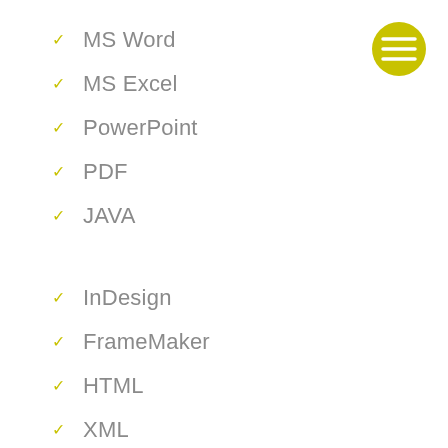[Figure (logo): Yellow-green circle with three horizontal white lines (hamburger/menu icon)]
MS Word
MS Excel
PowerPoint
PDF
JAVA
InDesign
FrameMaker
HTML
XML
DITA